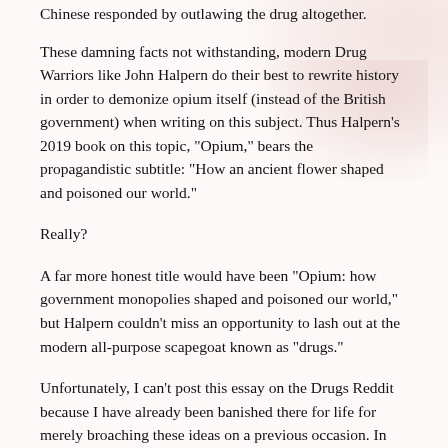Chinese responded by outlawing the drug altogether.
These damning facts not withstanding, modern Drug Warriors like John Halpern do their best to rewrite history in order to demonize opium itself (instead of the British government) when writing on this subject. Thus Halpern's 2019 book on this topic, "Opium," bears the propagandistic subtitle: "How an ancient flower shaped and poisoned our world."
Really?
A far more honest title would have been "Opium: how government monopolies shaped and poisoned our world," but Halpern couldn't miss an opportunity to lash out at the modern all-purpose scapegoat known as "drugs."
Unfortunately, I can't post this essay on the Drugs Reddit because I have already been banished there for life for merely broaching these ideas on a previous occasion. In fact, I've been banned on the DrugWar Reddit as well for the same reason. (I sometimes think that DEA moles have become moderators of